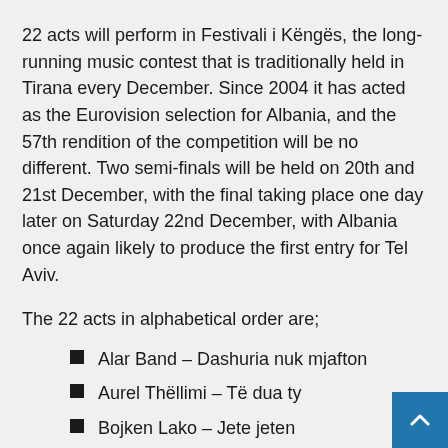22 acts will perform in Festivali i Këngës, the long-running music contest that is traditionally held in Tirana every December. Since 2004 it has acted as the Eurovision selection for Albania, and the 57th rendition of the competition will be no different. Two semi-finals will be held on 20th and 21st December, with the final taking place one day later on Saturday 22nd December, with Albania once again likely to produce the first entry for Tel Aviv.
The 22 acts in alphabetical order are;
Alar Band – Dashuria nuk mjafton
Aurel Thëllimi – Të dua ty
Bojken Lako – Jete jeten
Bruno Pollogati – Nuk ka stop
Dilan Reka – Karma